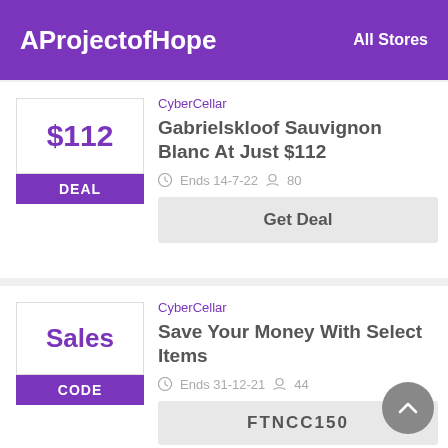AProjectofHope   All Stores
CyberCellar
$112
DEAL
Gabrielskloof Sauvignon Blanc At Just $112
Ends 14-7-22   80
Get Deal
CyberCellar
Sales
CODE
Save Your Money With Select Items
Ends 31-12-21   44
FTNCC150